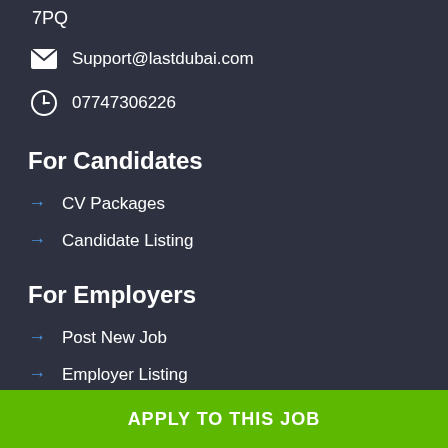7PQ
Support@lastdubai.com
07747306226
For Candidates
CV Packages
Candidate Listing
For Employers
Post New Job
Employer Listing
Job Packages
Jobs Listing
APPLY TO THIS JOB